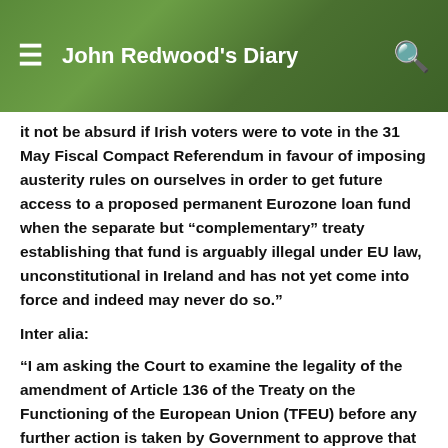John Redwood's Diary
it not be absurd if Irish voters were to vote in the 31 May Fiscal Compact Referendum in favour of imposing austerity rules on ourselves in order to get future access to a proposed permanent Eurozone loan fund when the separate but “complementary” treaty establishing that fund is arguably illegal under EU law, unconstitutional in Ireland and has not yet come into force and indeed may never do so.”
Inter alia:
“I am asking the Court to examine the legality of the amendment of Article 136 of the Treaty on the Functioning of the European Union (TFEU) before any further action is taken by Government to approve that amendment. That amendment permits the establishment of a “stability mechanism” that